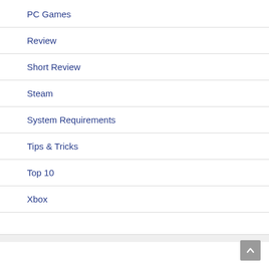PC Games
Review
Short Review
Steam
System Requirements
Tips & Tricks
Top 10
Xbox